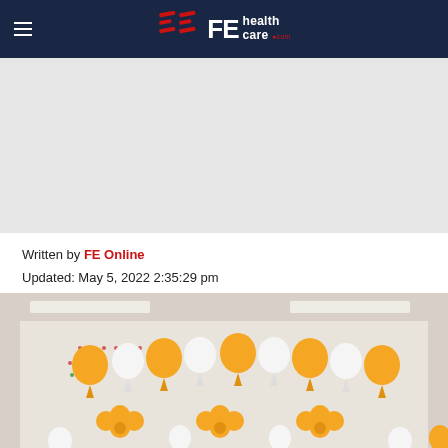FE healthcare .com
[Figure (other): Gray advertisement/banner placeholder area]
Written by FE Online
Updated: May 5, 2022 2:35:29 pm
[Figure (photo): Photo of a decorated indoor space with orange and white balloon arrangements on a wall, with fluorescent ceiling lights visible]